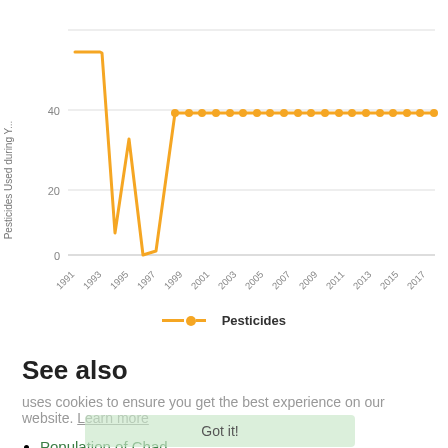[Figure (line-chart): Pesticides Used during Y...]
Pesticides
See also
uses cookies to ensure you get the best experience on our website. Learn more
Population of Chad
Chad CO2 emissions